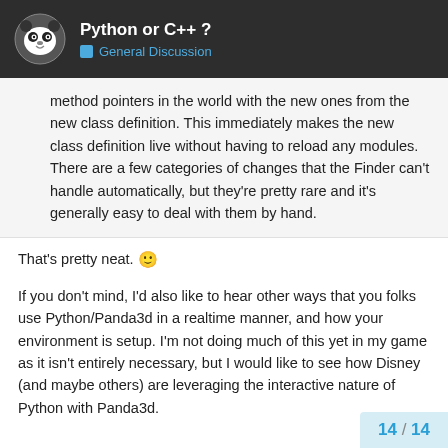Python or C++ ? — General Discussion
method pointers in the world with the new ones from the new class definition. This immediately makes the new class definition live without having to reload any modules. There are a few categories of changes that the Finder can't handle automatically, but they're pretty rare and it's generally easy to deal with them by hand.
That's pretty neat. 🙂
If you don't mind, I'd also like to hear other ways that you folks use Python/Panda3d in a realtime manner, and how your environment is setup. I'm not doing much of this yet in my game as it isn't entirely necessary, but I would like to see how Disney (and maybe others) are leveraging the interactive nature of Python with Panda3d.
14 / 14